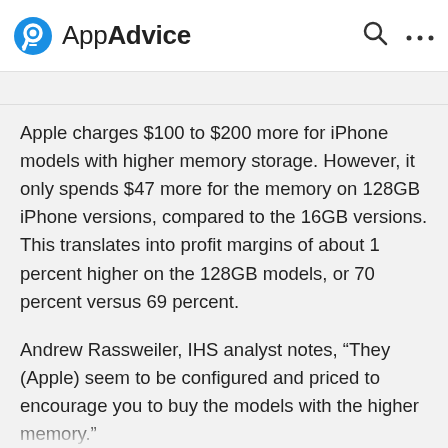AppAdvice
Apple charges $100 to $200 more for iPhone models with higher memory storage. However, it only spends $47 more for the memory on 128GB iPhone versions, compared to the 16GB versions. This translates into profit margins of about 1 percent higher on the 128GB models, or 70 percent versus 69 percent.
Andrew Rassweiler, IHS analyst notes, “They (Apple) seem to be configured and priced to encourage you to buy the models with the higher memory.”
Other findings:
Taiwan Semiconductor Manufacturing Co. is producing 60 percent of the Apple A8 chips found in the iPhone 6 and iPhone 6 Plus. This compares